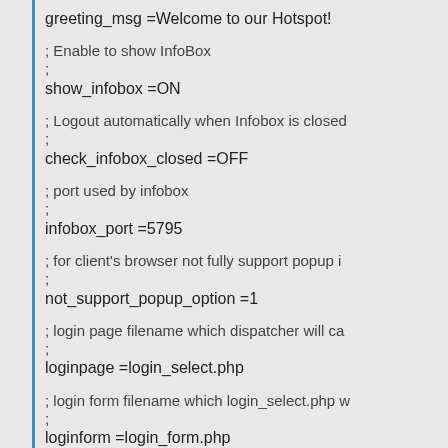greeting_msg =Welcome to our Hotspot!
; Enable to show InfoBox
;
show_infobox =ON
; Logout automatically when Infobox is closed
;
check_infobox_closed =OFF
; port used by infobox
;
infobox_port =5795
; for client's browser not fully support popup i
;
not_support_popup_option =1
; login page filename which dispatcher will ca
;
loginpage =login_select.php
; login form filename which login_select.php w
;
loginform =login_form.php